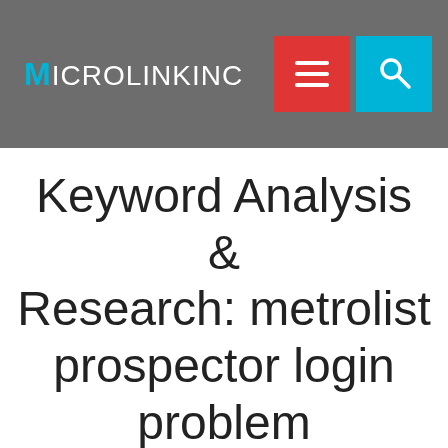MICROLINKINC
Keyword Analysis & Research: metrolist prospector login problem